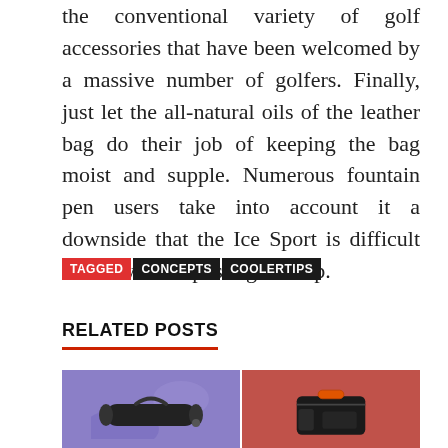the conventional variety of golf accessories that have been welcomed by a massive number of golfers. Finally, just let the all-natural oils of the leather bag do their job of keeping the bag moist and supple. Numerous fountain pen users take into account it a downside that the Ice Sport is difficult to use without posting the cap.
TAGGED CONCEPTS COOLERTIPS
RELATED POSTS
[Figure (photo): Two product images side by side: left shows a black cylindrical bag on a purple/blue background, right shows a black duffel/backpack bag on a red/pink background.]